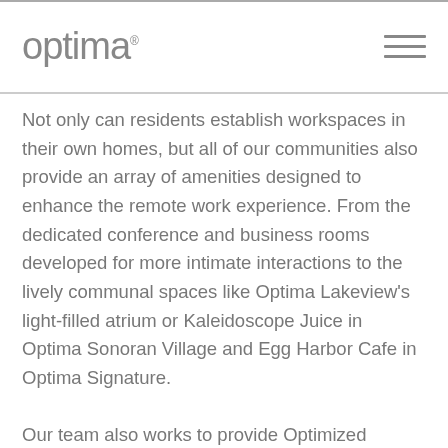optima
Not only can residents establish workspaces in their own homes, but all of our communities also provide an array of amenities designed to enhance the remote work experience. From the dedicated conference and business rooms developed for more intimate interactions to the lively communal spaces like Optima Lakeview's light-filled atrium or Kaleidoscope Juice in Optima Sonoran Village and Egg Harbor Cafe in Optima Signature.
Our team also works to provide Optimized Service® in each community. Residents have access to in-